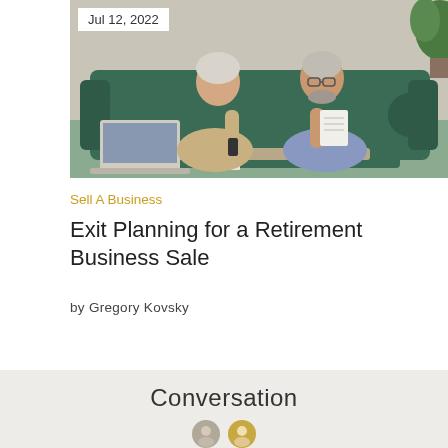[Figure (photo): An older couple sitting on a green couch, reviewing financial documents and using a laptop and phone together.]
Jul 12, 2022
Sell A Business
Exit Planning for a Retirement Business Sale
by Gregory Kovsky
Conversation